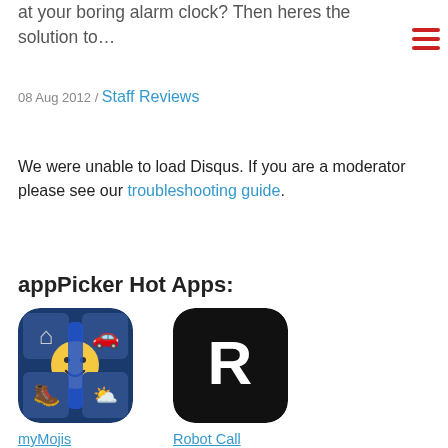at your boring alarm clock? Then heres the solution to…
08 Aug 2012 / Staff Reviews
We were unable to load Disqus. If you are a moderator please see our troubleshooting guide.
appPicker Hot Apps:
[Figure (screenshot): myMojis app icon - blue background with smiley face emoji and category icons]
myMojis
Free
[Figure (screenshot): Robot Call Blocker app icon - black background with white R letter logo]
Robot Call Blocker
Free (partial)